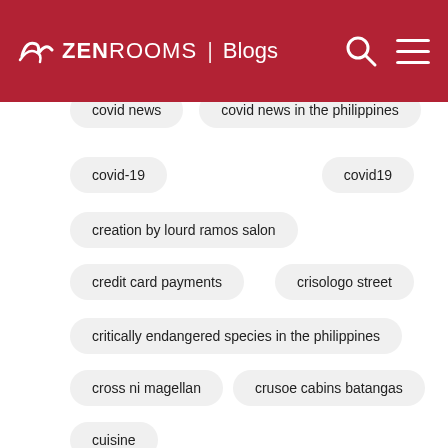ZEN ROOMS | Blogs
covid news
covid news in the philippines
covid-19
covid19
creation by lourd ramos salon
credit card payments
crisologo street
critically endangered species in the philippines
cross ni magellan
crusoe cabins batangas
cuisine
cultural background of ibalong festival
cultural beliefs in the philippines